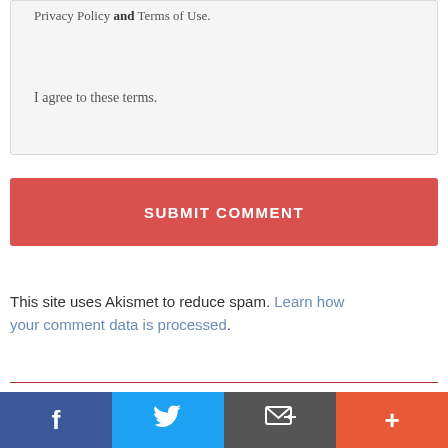Privacy Policy and Terms of Use.

I agree to these terms.
SUBMIT COMMENT
This site uses Akismet to reduce spam. Learn how your comment data is processed.
Recent Blog Posts
Why Unified Network Operations Was Key at
[Figure (other): Social share bar with Facebook, Twitter, email/share, and more (+) buttons]